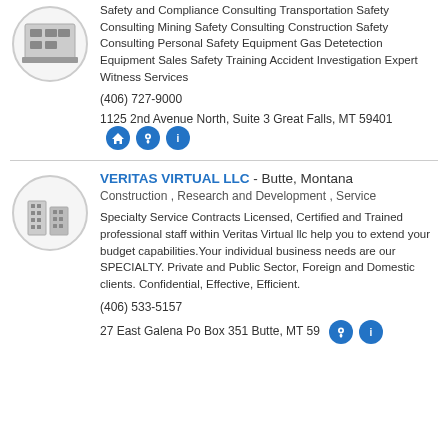Safety and Compliance Consulting Transportation Safety Consulting Mining Safety Consulting Construction Safety Consulting Personal Safety Equipment Gas Detetection Equipment Sales Safety Training Accident Investigation Expert Witness Services
(406) 727-9000
1125 2nd Avenue North, Suite 3 Great Falls, MT 59401
VERITAS VIRTUAL LLC - Butte, Montana
Construction , Research and Development , Service
Specialty Service Contracts Licensed, Certified and Trained professional staff within Veritas Virtual llc help you to extend your budget capabilities.Your individual business needs are our SPECIALTY. Private and Public Sector, Foreign and Domestic clients. Confidential, Effective, Efficient.
(406) 533-5157
27 East Galena Po Box 351 Butte, MT 59701